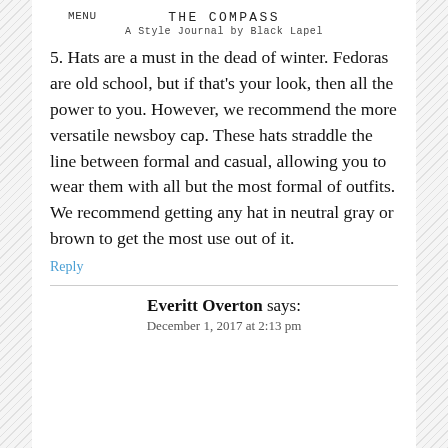MENU
THE COMPASS
A Style Journal by Black Lapel
5. Hats are a must in the dead of winter. Fedoras are old school, but if that's your look, then all the power to you. However, we recommend the more versatile newsboy cap. These hats straddle the line between formal and casual, allowing you to wear them with all but the most formal of outfits. We recommend getting any hat in neutral gray or brown to get the most use out of it.
Reply
Everitt Overton says:
December 1, 2017 at 2:13 pm